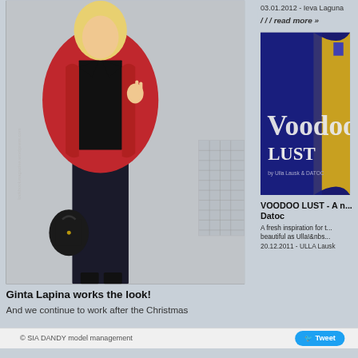[Figure (photo): Fashion photo of Ginta Lapina wearing a red leather jacket over a black top with black coated jeans, holding a black handbag, making a peace sign, standing on a city street]
Ginta Lapina works the look!
And we continue to work after the Christmas
03.01.2012 - Ieva Laguna
/ / / read more »
[Figure (photo): Voodoo Lust book or magazine cover with dark blue and yellow tones, text reading 'Voodoo LUST']
VOODOO LUST - A m... Datoc
A fresh inspiration for t... beautiful as Ulla!&nbs...
20.12.2011 - ULLA Lausk
© SIA DANDY model management
Tweet